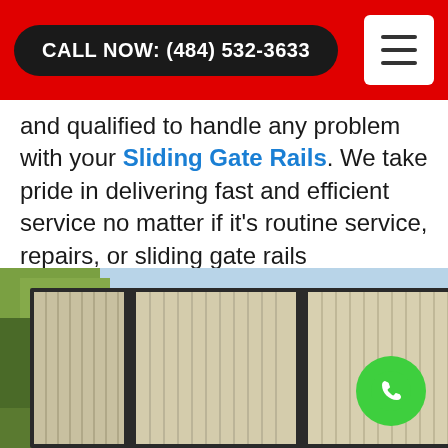CALL NOW: (484) 532-3633
and qualified to handle any problem with your Sliding Gate Rails. We take pride in delivering fast and efficient service no matter if it's routine service, repairs, or sliding gate rails replacement.
[Figure (photo): Photo of a large sliding gate with corrugated metal panels in beige/silver, dark metal frame, shown in a suburban driveway setting. A green phone/call button is visible in the lower right corner.]